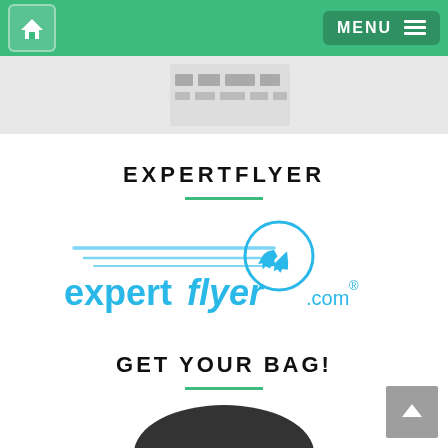Home | MENU
[Figure (screenshot): Partial image strip showing airline logos or travel website header]
EXPERTFLYER
[Figure (logo): ExpertFlyer.com logo with airplane icon and speed lines]
GET YOUR BAG!
[Figure (photo): Partial view of a bag/luggage at the bottom of the page]